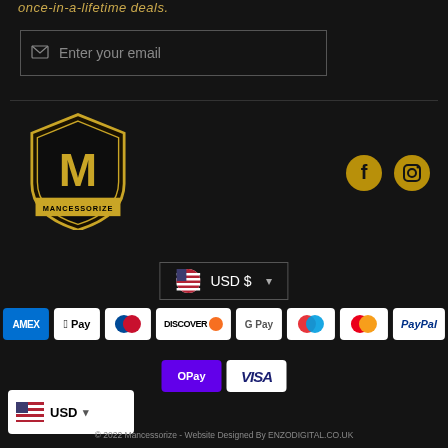once-in-a-lifetime deals.
[Figure (screenshot): Email subscription input field with envelope icon and placeholder text 'Enter your email']
[Figure (logo): Mancessorize shield logo with gold M on black background and MANCESSORIZE banner]
[Figure (screenshot): Social media icons: Facebook and Instagram in gold color]
[Figure (screenshot): USD currency selector with US flag dropdown]
[Figure (screenshot): Payment method badges: AMEX, Apple Pay, Diners Club, Discover, Google Pay, Maestro, Mastercard, PayPal, OPay, Visa]
[Figure (screenshot): USD flag badge in bottom left]
© 2022 Mancessorize - Website Designed By ENZODIGITAL.CO.UK